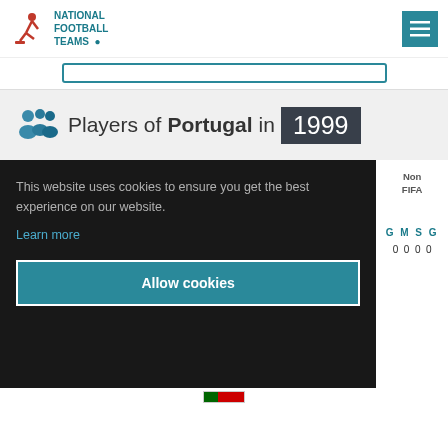National Football Teams
Players of Portugal in 1999
This website uses cookies to ensure you get the best experience on our website. Learn more
Allow cookies
Non FIFA G M S G
0 0 0 0